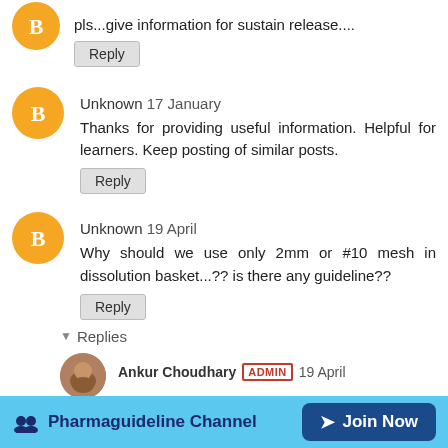pls...give information for sustain release....
Reply
Unknown 17 January
Thanks for providing useful information. Helpful for learners. Keep posting of similar posts.
Reply
Unknown 19 April
Why should we use only 2mm or #10 mesh in dissolution basket...?? is there any guideline??
Reply
Replies
Ankur Choudhary ADMIN 19 April
Pharmaguideline Channel  Join Now